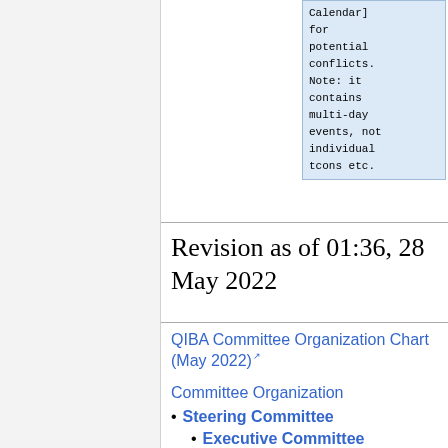Calendar] for potential conflicts. Note: it contains multi-day events, not individual tcons etc.
Revision as of 01:36, 28 May 2022
QIBA Committee Organization Chart (May 2022)
Committee Organization
Steering Committee
Executive Committee
CT Coordination Committee